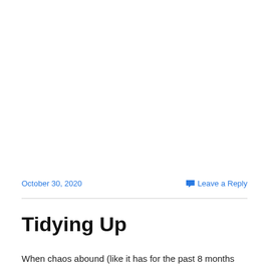October 30, 2020    Leave a Reply
Tidying Up
When chaos abound (like it has for the past 8 months